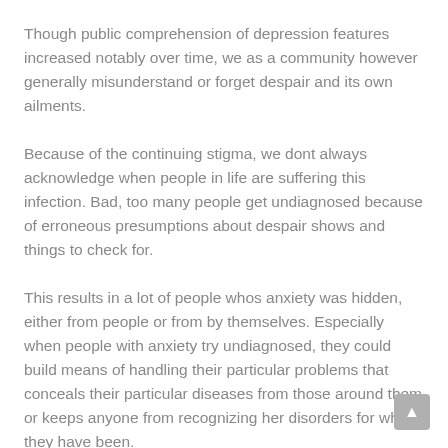Though public comprehension of depression features increased notably over time, we as a community however generally misunderstand or forget despair and its own ailments.
Because of the continuing stigma, we dont always acknowledge when people in life are suffering this infection. Bad, too many people get undiagnosed because of erroneous presumptions about despair shows and things to check for.
This results in a lot of people whos anxiety was hidden, either from people or from by themselves. Especially when people with anxiety try undiagnosed, they could build means of handling their particular problems that conceals their particular diseases from those around them or keeps anyone from recognizing her disorders for what they have been.
We have to unlearn the assumption that suffering is often obviously visible to us, so as that we are able to best understand